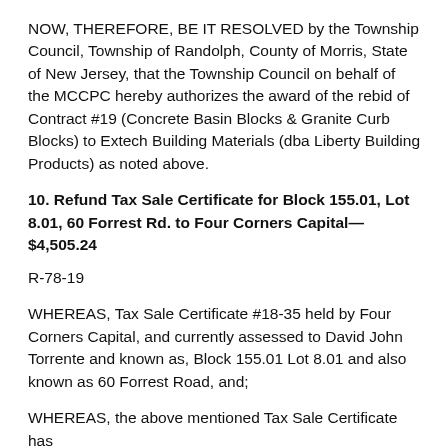NOW, THEREFORE, BE IT RESOLVED by the Township Council, Township of Randolph, County of Morris, State of New Jersey, that the Township Council on behalf of the MCCPC hereby authorizes the award of the rebid of Contract #19 (Concrete Basin Blocks & Granite Curb Blocks) to Extech Building Materials (dba Liberty Building Products) as noted above.
10. Refund Tax Sale Certificate for Block 155.01, Lot 8.01, 60 Forrest Rd. to Four Corners Capital—$4,505.24
R-78-19
WHEREAS, Tax Sale Certificate #18-35 held by Four Corners Capital, and currently assessed to David John Torrente and known as, Block 155.01 Lot 8.01 and also known as 60 Forrest Road, and;
WHEREAS, the above mentioned Tax Sale Certificate has